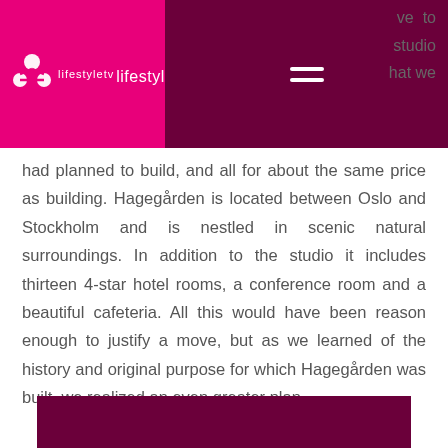[Figure (logo): Lifestyle TV logo with pink background and hamburger menu on dark maroon background]
ve to studio hat we had planned to build, and all for about the same price as building. Hagegården is located between Oslo and Stockholm and is nestled in scenic natural surroundings. In addition to the studio it includes thirteen 4-star hotel rooms, a conference room and a beautiful cafeteria. All this would have been reason enough to justify a move, but as we learned of the history and original purpose for which Hagegården was built, we realized an even greater plan.